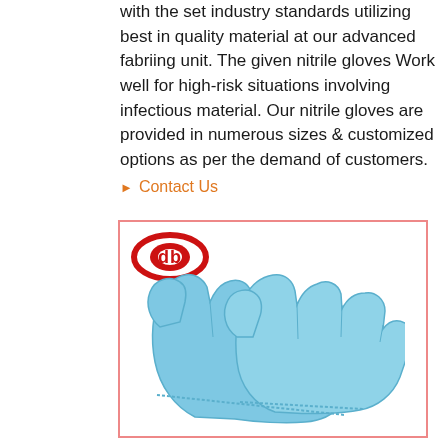with the set industry standards utilizing best in quality material at our advanced fabriing unit. The given nitrile gloves Work well for high-risk situations involving infectious material. Our nitrile gloves are provided in numerous sizes & customized options as per the demand of customers.
▶ Contact Us
[Figure (photo): Product listing image showing two blue nitrile gloves worn on hands, positioned together, with a red company logo (stylized 'db' letters) in the upper left corner. Image has a pink/red border.]